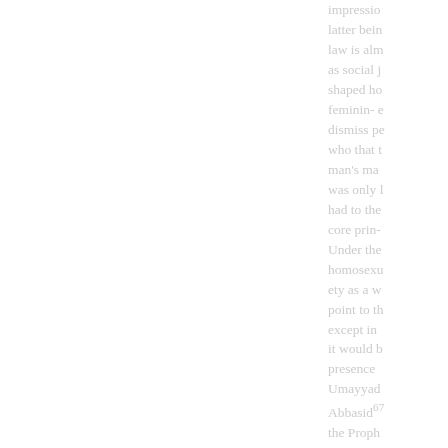impressio latter bein law is alm as social j shaped ho feminin- e dismiss pe who that t man's ma was only l had to the core prin- Under the homosexu ety as a w point to th except in it would b presence Umayyad Abbasid67 the Proph